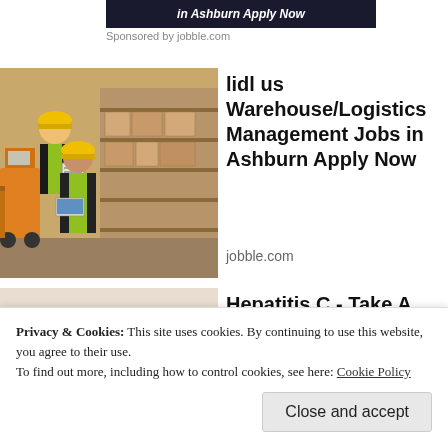[Figure (screenshot): Ad banner with text 'in Ashburn Apply Now' on dark background]
Sponsored by jobble.com
[Figure (photo): Two warehouse workers in yellow hard hats and safety vests in a warehouse]
lidl us Warehouse/Logistics Management Jobs in Ashburn Apply Now
jobble.com
[Figure (photo): Person holding wrist in pain, inflamed joint shown in red]
Hepatitis C - Take A Look at Signs
Hepatitis C | Search Ads
Privacy & Cookies: This site uses cookies. By continuing to use this website, you agree to their use.
To find out more, including how to control cookies, see here: Cookie Policy
Close and accept